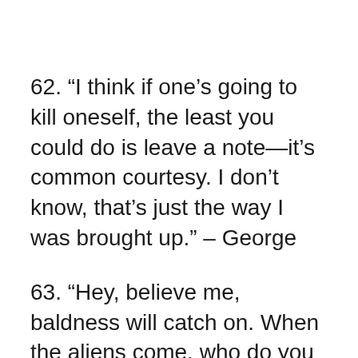62. “I think if one’s going to kill oneself, the least you could do is leave a note—it’s common courtesy. I don’t know, that’s just the way I was brought up.” – George
63. “Hey, believe me, baldness will catch on. When the aliens come, who do you think they’re gonna relate to? Who do you think is going to be the first one getting a tour of the ship?” –